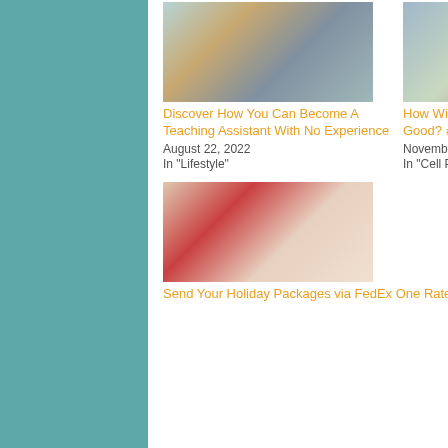[Figure (photo): Photo of a teacher reading to children in a classroom]
Discover How You Can Become A Teaching Assistant With No Experience
August 22, 2022
In "Lifestyle"
[Figure (photo): Photo of children sitting in a circle reading]
How Will You Use Your Smartphone for Good? #UseIt4Good
November 20, 2015
In "Cell Phone"
[Figure (photo): Photo of a smiling blonde woman in a red top]
Send Your Holiday Packages via FedEx One Rate + Countless Possibilities Through Education